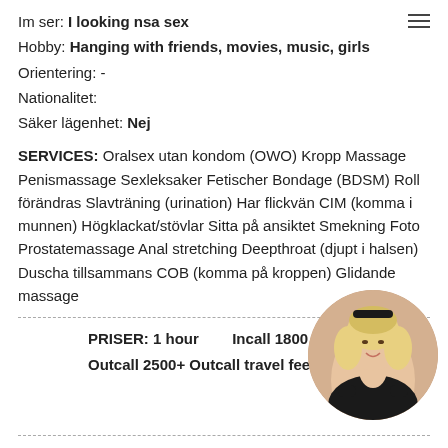Im ser: I looking nsa sex
Hobby: Hanging with friends, movies, music, girls
Orientering: -
Nationalitet:
Säker lägenhet: Nej
SERVICES: Oralsex utan kondom (OWO) Kropp Massage Penismassage Sexleksaker Fetischer Bondage (BDSM) Roll förändras Slavträning (urination) Har flickvän CIM (komma i munnen) Högklackat/stövlar Sitta på ansiktet Smekning Foto Prostatemassage Anal stretching Deepthroat (djupt i halsen) Duscha tillsammans COB (komma på kroppen) Glidande massage
PRISER: 1 hour   Incall 1800 Sk
Outcall 2500+ Outcall travel fee(taxi) S
[Figure (photo): Circular photo of a blonde woman in black outfit, smiling]